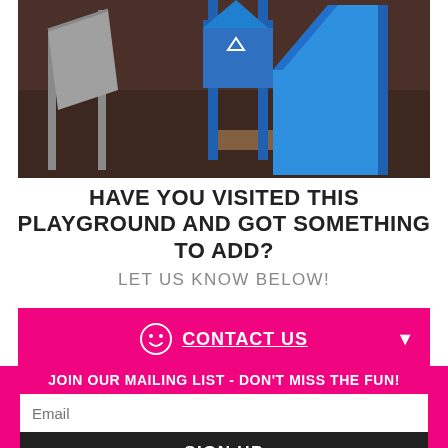[Figure (photo): Playground equipment with blue slide and play structure on bark mulch ground.]
HAVE YOU VISITED THIS PLAYGROUND AND GOT SOMETHING TO ADD?
LET US KNOW BELOW!
CONTACT US
JOIN OUR MAILING LIST - DON'T MISS THE FUN!
Email
SIGN UP